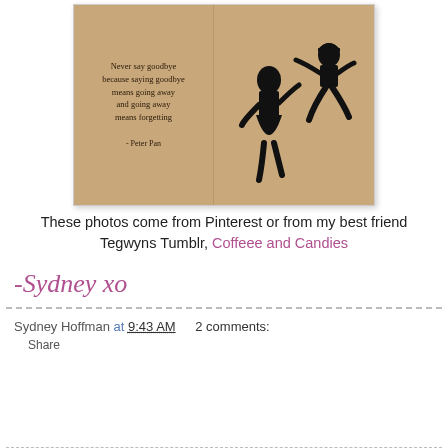[Figure (illustration): A vintage-style image split into two panels. Left panel has a parchment/aged paper background with the text: 'Never say goodbye because saying goodbye means going away and going away means forgetting - Peter Pan'. Right panel shows two black silhouettes of people (a girl in a dress and a boy/Peter Pan figure) appearing to dance or fly against a tan/beige background.]
These photos come from Pinterest or from my best friend Tegwyns Tumblr, Coffeee and Candies
-Sydney xo
Sydney Hoffman at 9:43 AM    2 comments:
Share